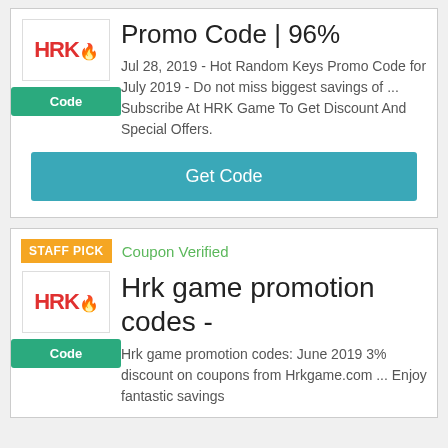[Figure (logo): HRK Game logo - red text HRK with flame dot]
Code
Promo Code | 96%
Jul 28, 2019 - Hot Random Keys Promo Code for July 2019 - Do not miss biggest savings of ... Subscribe At HRK Game To Get Discount And Special Offers.
Get Code
STAFF PICK
Coupon Verified
[Figure (logo): HRK Game logo - red text HRK with flame dot]
Code
Hrk game promotion codes -
Hrk game promotion codes: June 2019 3% discount on coupons from Hrkgame.com ... Enjoy fantastic savings